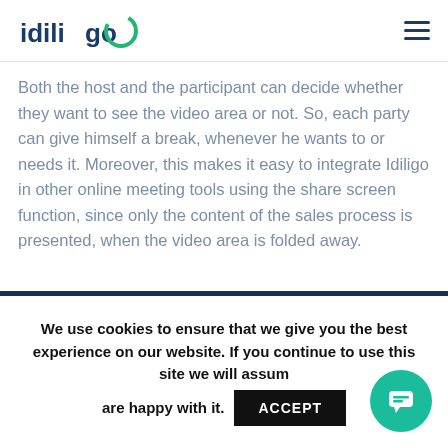idiligo
Both the host and the participant can decide whether they want to see the video area or not. So, each party can give himself a break, whenever he wants to or needs it. Moreover, this makes it easy to integrate Idiligo in other online meeting tools using the share screen function, since only the content of the sales process is presented, when the video area is folded away.
We use cookies to ensure that we give you the best experience on our website. If you continue to use this site we will assume you are happy with it.
ACCEPT